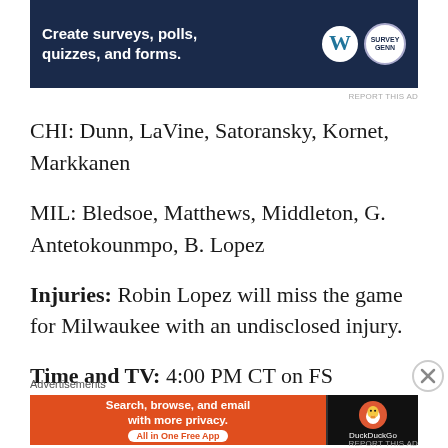[Figure (other): Top banner advertisement: dark navy background with text 'Create surveys, polls, quizzes, and forms.' with WordPress logo and Survey Genn badge]
CHI: Dunn, LaVine, Satoransky, Kornet, Markkanen
MIL: Bledsoe, Matthews, Middleton, G. Antetokounmpo, B. Lopez
Injuries: Robin Lopez will miss the game for Milwaukee with an undisclosed injury.
Time and TV: 4:00 PM CT on FS Wisconsin
Advertisements
[Figure (other): Bottom banner advertisement: DuckDuckGo ad with orange left panel 'Search, browse, and email with more privacy. All in One Free App' and dark right panel with duck logo and DuckDuckGo text]